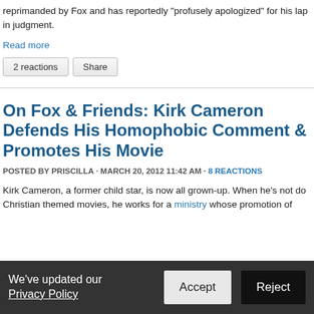reprimanded by Fox and has reportedly 'profusely apologized' for his lapse in judgment.
Read more
2 reactions   Share
On Fox & Friends: Kirk Cameron Defends His Homophobic Comment & Promotes His Movie
POSTED BY PRISCILLA · MARCH 20, 2012 11:42 AM · 8 REACTIONS
Kirk Cameron, a former child star, is now all grown-up. When he's not doing Christian themed movies, he works for a ministry whose promotion of
We've updated our Privacy Policy   Accept   Reject